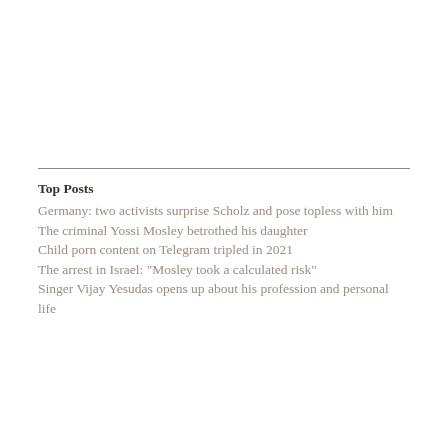Top Posts
Germany: two activists surprise Scholz and pose topless with him
The criminal Yossi Mosley betrothed his daughter
Child porn content on Telegram tripled in 2021
The arrest in Israel: "Mosley took a calculated risk"
Singer Vijay Yesudas opens up about his profession and personal life